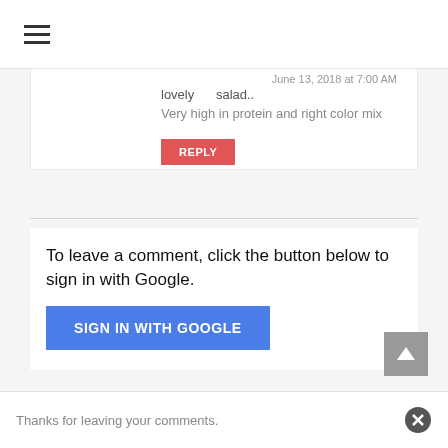≡
June 13, 2018 at 7:00 AM
lovely    salad..
Very high in protein and right color mix
REPLY
To leave a comment, click the button below to sign in with Google.
SIGN IN WITH GOOGLE
Thanks for leaving your comments.